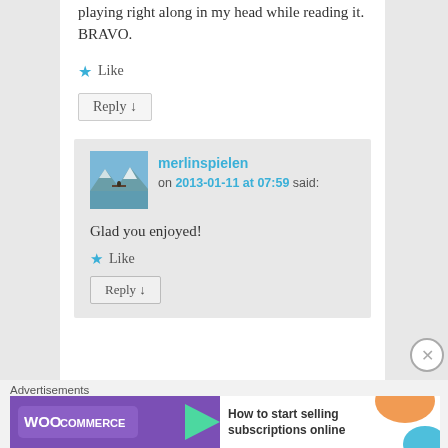playing right along in my head while reading it. BRAVO.
★ Like
Reply ↓
merlinspielen on 2013-01-11 at 07:59 said:
Glad you enjoyed!
★ Like
Reply ↓
Advertisements
[Figure (screenshot): WooCommerce advertisement banner: purple background with WooCommerce logo and arrow, text 'How to start selling subscriptions online', orange and blue decorative shapes on right side]